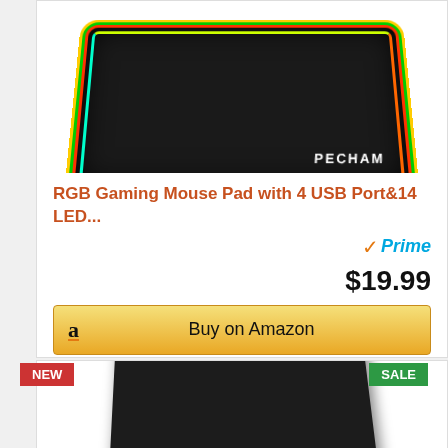[Figure (photo): RGB gaming mouse pad with colorful LED border glow (PECHAM brand) product photo, top portion cut off]
RGB Gaming Mouse Pad with 4 USB Port&14 LED...
[Figure (logo): Amazon Prime badge with checkmark and 'Prime' in blue italic]
$19.99
Buy on Amazon
NEW
SALE
[Figure (photo): Black gaming mouse pad product photo, bottom portion visible, dark rectangular pad on white background]